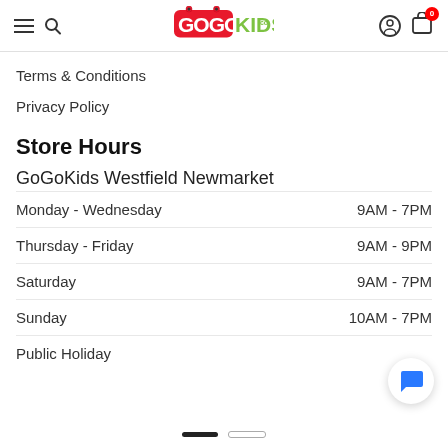GoGoKids header with navigation and logo
Terms & Conditions
Privacy Policy
Store Hours
GoGoKids Westfield Newmarket
| Day | Hours |
| --- | --- |
| Monday - Wednesday | 9AM - 7PM |
| Thursday - Friday | 9AM - 9PM |
| Saturday | 9AM - 7PM |
| Sunday | 10AM - 7PM |
| Public Holiday |  |